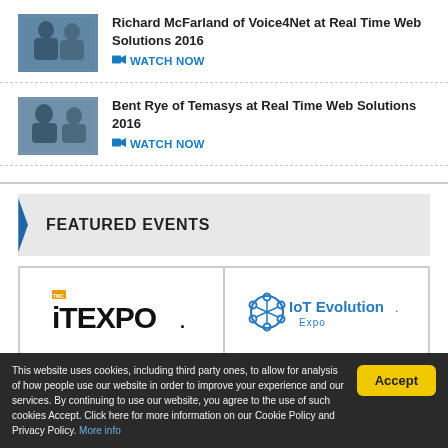[Figure (photo): Two men in suits at a conference event, blueish background]
Richard McFarland of Voice4Net at Real Time Web Solutions 2016
WATCH NOW
[Figure (photo): Two men talking at a conference event]
Bent Rye of Temasys at Real Time Web Solutions 2016
WATCH NOW
FEATURED EVENTS
[Figure (logo): ITEXPO logo in black text]
[Figure (logo): IoT Evolution Expo logo in blue]
This website uses cookies, including third party ones, to allow for analysis of how people use our website in order to improve your experience and our services. By continuing to use our website, you agree to the use of such cookies Accept. Click here for more information on our Cookie Policy and Privacy Policy. More info